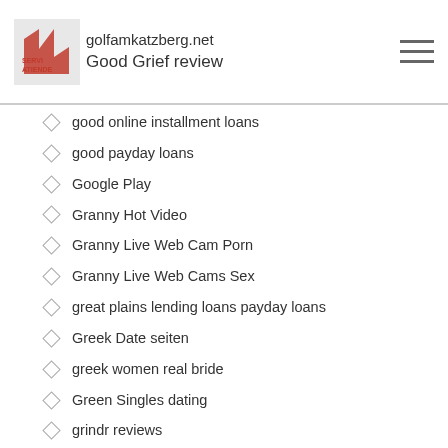golfamkatzberg.net SERVI ATIENDE — Good Grief review
good online installment loans
good payday loans
Google Play
Granny Hot Video
Granny Live Web Cam Porn
Granny Live Web Cams Sex
great plains lending loans payday loans
Greek Date seiten
greek women real bride
Green Singles dating
grindr reviews
grindr silverdaddies dating site
grizzly sign up
Guardian Soulmates review
guyspy dating